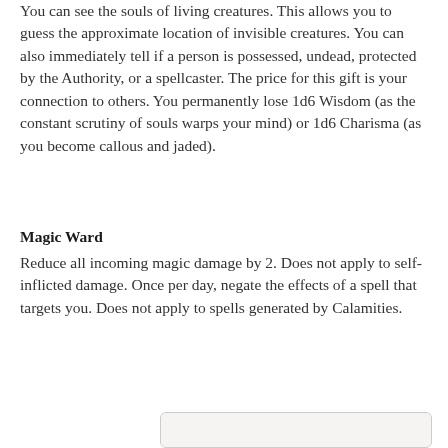You can see the souls of living creatures. This allows you to guess the approximate location of invisible creatures. You can also immediately tell if a person is possessed, undead, protected by the Authority, or a spellcaster. The price for this gift is your connection to others. You permanently lose 1d6 Wisdom (as the constant scrutiny of souls warps your mind) or 1d6 Charisma (as you become callous and jaded).
Magic Ward
Reduce all incoming magic damage by 2. Does not apply to self-inflicted damage. Once per day, negate the effects of a spell that targets you. Does not apply to spells generated by Calamities.
[Figure (illustration): An illustrated figure of a ritualistic or shamanic character wearing an elaborate tall decorated mask/headdress with painted geometric patterns, a large circular ruff/collar made of straw or grass with hanging ornaments, and holding a staff. The figure appears to be dressed in ceremonial attire.]